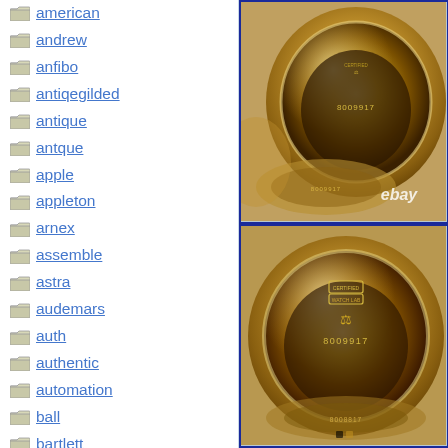american
andrew
anfibo
antiqegilded
antique
antque
apple
appleton
arnex
assemble
astra
audemars
auth
authentic
automation
ball
bartlett
baseball
batavi
beat
beaucourt
[Figure (photo): Close-up photo of an open gold pocket watch case showing inner back cover with engravings, markings, and serial number 8009917. An eBay watermark is visible.]
[Figure (photo): Close-up photo of an open gold pocket watch case showing the inner mechanism/back with circular engravings and serial number 8009917 visible.]